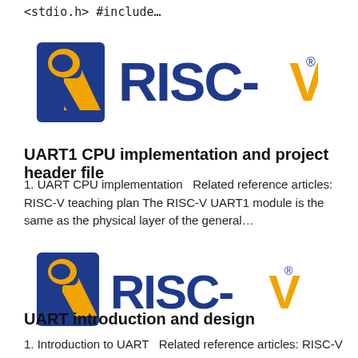<stdio.h> #include…
[Figure (logo): RISC-V logo with stylized R icon in blue and gold, followed by RISC-V text in blue with gold V and registered trademark symbol]
UART1 CPU implementation and project header file
1. UART CPU implementation   Related reference articles: RISC-V teaching plan The RISC-V UART1 module is the same as the physical layer of the general…
[Figure (logo): RISC-V logo with stylized R icon in blue and gold, followed by RISC-V text in blue with gold V and registered trademark symbol]
UART introduction and design
1. Introduction to UART   Related reference articles: RISC-V teaching plan Reference to the RISC-V UART…